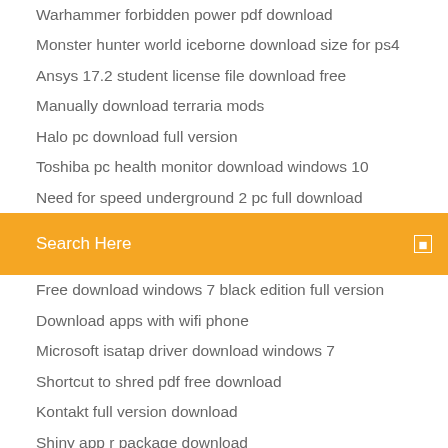Warhammer forbidden power pdf download
Monster hunter world iceborne download size for ps4
Ansys 17.2 student license file download free
Manually download terraria mods
Halo pc download full version
Toshiba pc health monitor download windows 10
Need for speed underground 2 pc full download
Search Here
Free download windows 7 black edition full version
Download apps with wifi phone
Microsoft isatap driver download windows 7
Shortcut to shred pdf free download
Kontakt full version download
Shiny app r package download
Warhammer forbidden power pdf download
Frontier airlines download app
Blockman multiplayer for minecraft pc download
Pokemon lets go pikachu for android download